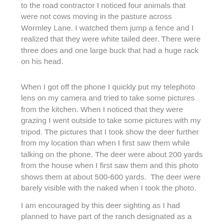to the road contractor I noticed four animals that were not cows moving in the pasture across Wormley Lane. I watched them jump a fence and I realized that they were white tailed deer. There were three does and one large buck that had a huge rack on his head.
When I got off the phone I quickly put my telephoto lens on my camera and tried to take some pictures from the kitchen. When I noticed that they were grazing I went outside to take some pictures with my tripod. The pictures that I took show the deer further from my location than when I first saw them while talking on the phone. The deer were about 200 yards from the house when I first saw them and this photo shows them at about 500-600 yards.  The deer were barely visible with the naked when I took the photo.
I am encouraged by this deer sighting as I had planned to have part of the ranch designated as a wild life range land. The State of Texas helps land owners do this. I had hoped that there were deer in the area that used this part of Texas as their home. Now that I have seen these deer I know that they are around and preserving the woods and planting native grasses will help encourage their numbers here.